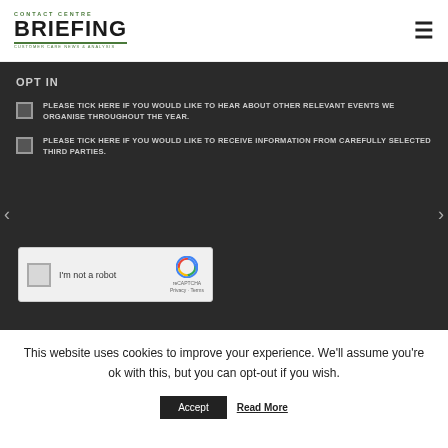[Figure (logo): Contact Centre Briefing logo with green text and underline]
OPT IN
PLEASE TICK HERE IF YOU WOULD LIKE TO HEAR ABOUT OTHER RELEVANT EVENTS WE ORGANISE THROUGHOUT THE YEAR.
PLEASE TICK HERE IF YOU WOULD LIKE TO RECEIVE INFORMATION FROM CAREFULLY SELECTED THIRD PARTIES.
[Figure (screenshot): reCAPTCHA widget with checkbox and I'm not a robot label]
This website uses cookies to improve your experience. We'll assume you're ok with this, but you can opt-out if you wish.
Accept
Read More